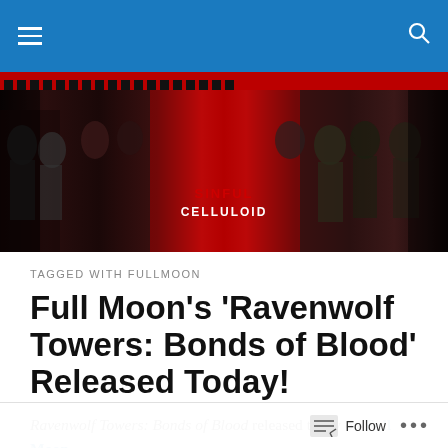Navigation bar with hamburger menu and search icon
[Figure (photo): Sinful Celluloid horror film collage banner with multiple horror movie characters and actresses on a dark red background]
TAGGED WITH FULLMOON
Full Moon's ‘Ravenwolf Towers: Bonds of Blood’ Released Today!
Ravenwolf Towers: Bonds of Blood released today on Full Moon Entertainment’s Amazon Channel and via
Follow ...